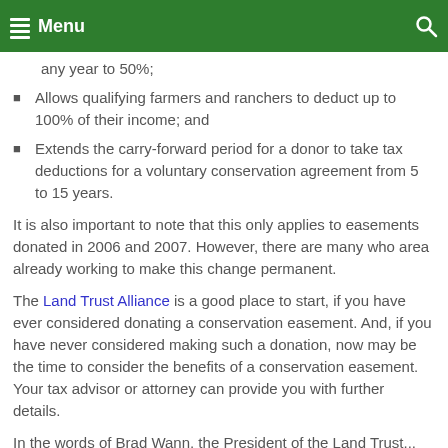Menu
any year to 50%;
Allows qualifying farmers and ranchers to deduct up to 100% of their income; and
Extends the carry-forward period for a donor to take tax deductions for a voluntary conservation agreement from 5 to 15 years.
It is also important to note that this only applies to easements donated in 2006 and 2007. However, there are many who area already working to make this change permanent.
The Land Trust Alliance is a good place to start, if you have ever considered donating a conservation easement. And, if you have never considered making such a donation, now may be the time to consider the benefits of a conservation easement. Your tax advisor or attorney can provide you with further details.
In the words of Brad Wann, the President of the Land Trust...